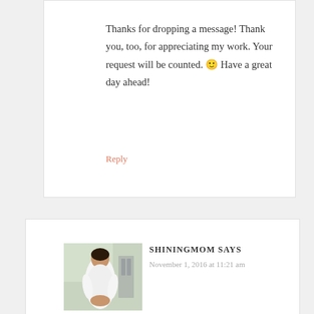Thanks for dropping a message! Thank you, too, for appreciating my work. Your request will be counted. 🙂 Have a great day ahead!
Reply
SHININGMOM SAYS
November 1, 2016 at 11:21 am